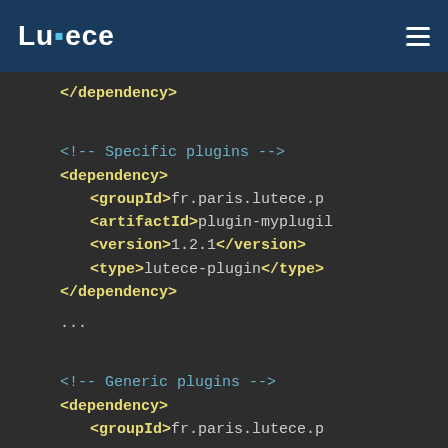Lutece
[Figure (screenshot): XML/Maven code block showing dependency configuration for Lutece plugins including specific and generic plugin dependency entries with groupId, artifactId, version, and type tags]